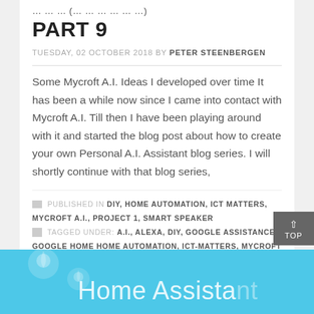PART 9
TUESDAY, 02 OCTOBER 2018 BY PETER STEENBERGEN
Some Mycroft A.I. Ideas I developed over time It has been a while now since I came into contact with Mycroft A.I. Till then I have been playing around with it and started the blog post about how to create your own Personal A.I. Assistant blog series. I will shortly continue with that blog series,
PUBLISHED IN DIY, HOME AUTOMATION, ICT MATTERS, MYCROFT A.I., PROJECT 1, SMART SPEAKER TAGGED UNDER: A.I., ALEXA, DIY, GOOGLE ASSISTANCE, GOOGLE HOME HOME AUTOMATION, ICT-MATTERS, MYCROFT A.I., SMART SPEAKER
[Figure (illustration): Blue banner footer with Home Assistant text and location pin icons]